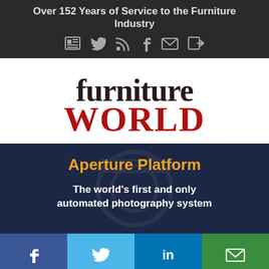Over 152 Years of Service to the Furniture Industry
[Figure (logo): Furniture World magazine logo with 'furniture' in dark serif and 'WORLD' in bold red capitals]
[Figure (infographic): Dark navy ad banner for Aperture Platform with orange title and white text: 'The world's first and only automated photography system']
[Figure (infographic): Bottom social share bar with Facebook (blue), Twitter (light blue), LinkedIn (blue), and Email (green) buttons]